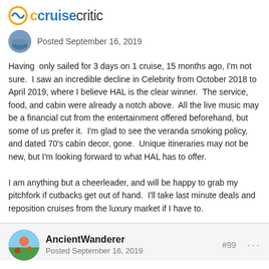cruisecritic
Posted September 16, 2019
Having  only sailed for 3 days on 1 cruise, 15 months ago, I'm not sure.  I saw an incredible decline in Celebrity from October 2018 to April 2019, where I believe HAL is the clear winner.  The service, food, and cabin were already a notch above.  All the live music may be a financial cut from the entertainment offered beforehand, but some of us prefer it.  I'm glad to see the veranda smoking policy, and dated 70's cabin decor, gone.  Unique itineraries may not be new, but I'm looking forward to what HAL has to offer.

I am anything but a cheerleader, and will be happy to grab my pitchfork if cutbacks get out of hand.  I'll take last minute deals and reposition cruises from the luxury market if I have to.
AncientWanderer
Posted September 16, 2019
#99